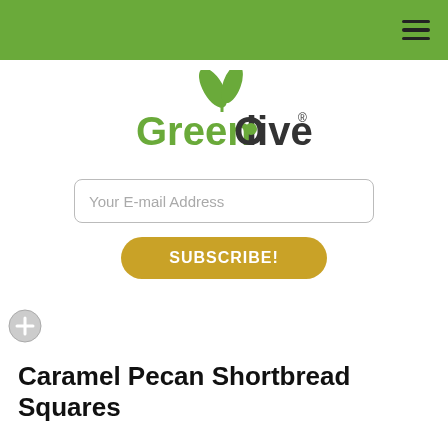GreenOlive navigation bar
[Figure (logo): GreenOlive logo with green leaf icon and green text reading GreenOlive with registered trademark symbol]
Your E-mail Address
SUBSCRIBE!
Caramel Pecan Shortbread Squares